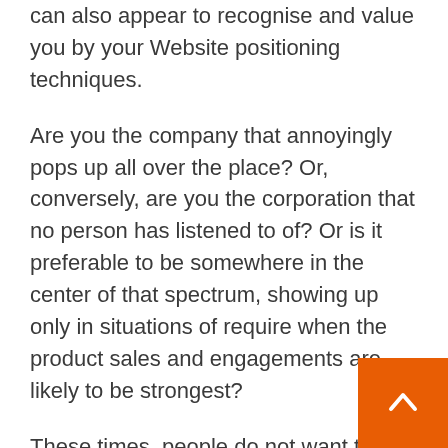can also appear to recognise and value you by your Website positioning techniques.
Are you the company that annoyingly pops up all over the place? Or, conversely, are you the corporation that no person has listened to of? Or is it preferable to be somewhere in the center of that spectrum, showing up only in situations of require when the product sales and engagements are likely to be strongest?
These times, people do not want to be bombarded with thousands of spam e-mails, suspicious calls, or gross sales folk in the road from a determined company. Conjecture is also keenly averted. Right now, it is far more about exhibiting up in the correct place at the suitable time, providing the very best success attainable when appetites are wet and then being completely ready to leap into action when termed on